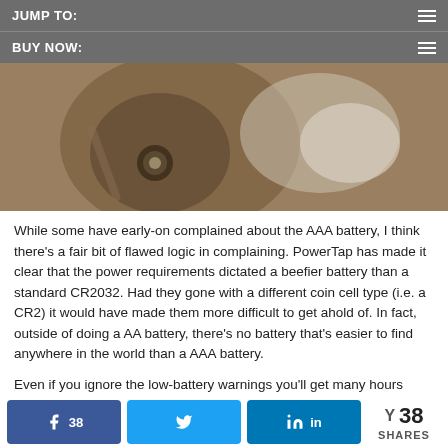JUMP TO:
BUY NOW:
[Figure (photo): Close-up blurred photo of a bicycle component, likely a power meter or wheel hub, with brown/tan metallic finish against a light grey background]
While some have early-on complained about the AAA battery, I think there's a fair bit of flawed logic in complaining.  PowerTap has made it clear that the power requirements dictated a beefier battery than a standard CR2032.  Had they gone with a different coin cell type (i.e. a CR2) it would have made them more difficult to get ahold of.  In fact, outside of doing a AA battery, there's no battery that's easier to find anywhere in the world than a AAA battery.
Even if you ignore the low-battery warnings you'll get many hours before it dies, you can stop in any convenience store or gas station on any road on earth and pickup a AAA battery mid-ride.  That's definitely not true of the CR2032.  Nor is it true of rechargeable
38 SHARES